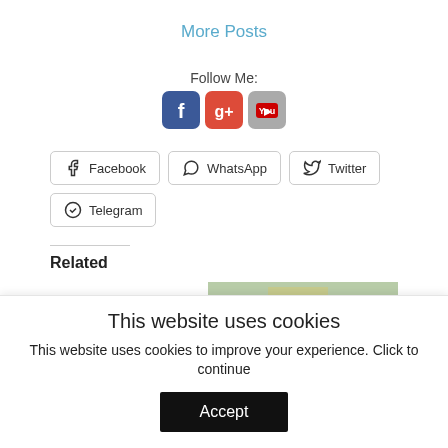More Posts
Follow Me:
[Figure (other): Social media icons: Facebook, Google+, YouTube]
Facebook  WhatsApp  Twitter  Telegram
Related
[Figure (photo): Outdoor street scene with people]
This website uses cookies
This website uses cookies to improve your experience. Click to continue
Accept